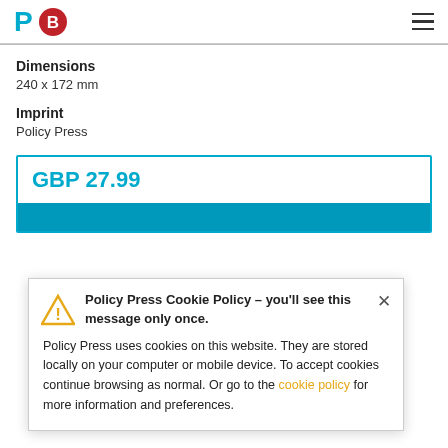P [logo] B [logo] [hamburger menu]
Dimensions
240 x 172 mm
Imprint
Policy Press
GBP 27.99
Policy Press Cookie Policy - you'll see this message only once.
Policy Press uses cookies on this website. They are stored locally on your computer or mobile device. To accept cookies continue browsing as normal. Or go to the cookie policy for more information and preferences.